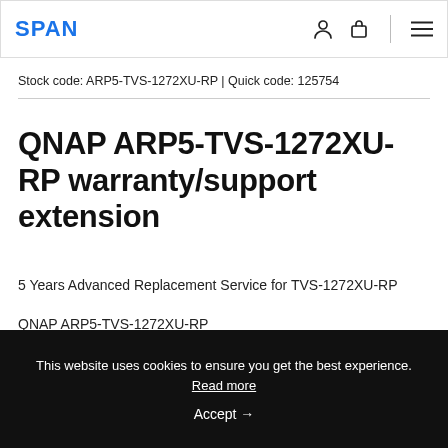SPAN
Stock code: ARP5-TVS-1272XU-RP | Quick code: 125754
QNAP ARP5-TVS-1272XU-RP warranty/support extension
5 Years Advanced Replacement Service for TVS-1272XU-RP
QNAP ARP5-TVS-1272XU-RP
This website uses cookies to ensure you get the best experience. Read more
Accept →